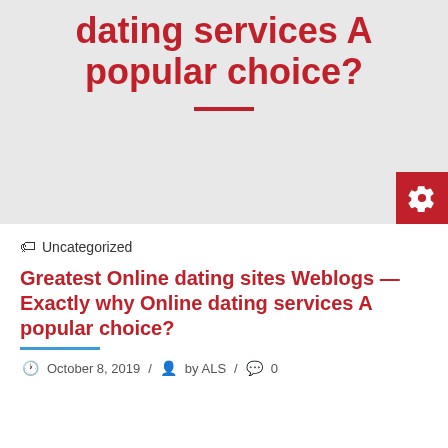dating services A popular choice?
Uncategorized
Greatest Online dating sites Weblogs — Exactly why Online dating services A popular choice?
October 8, 2019 / by ALS / 0